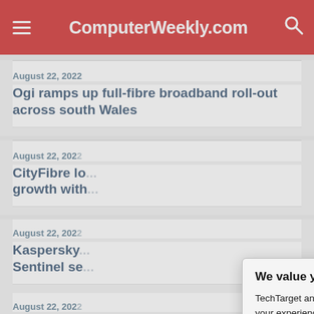ComputerWeekly.com
August 22, 2022
Ogi ramps up full-fibre broadband roll-out across south Wales
August 22, 2022
CityFibre lo... growth with...
August 22, 2022
Kaspersky ... Sentinel se...
August 22, 2022
How a fema... in tech
August 22, 2022
Lloyd's to c...
[Figure (screenshot): Cookie consent modal overlay with title 'We value your privacy.' and text about TechTarget and partners using cookies. Contains 'manage your settings' and 'Privacy Policy' links, plus OK and Settings buttons.]